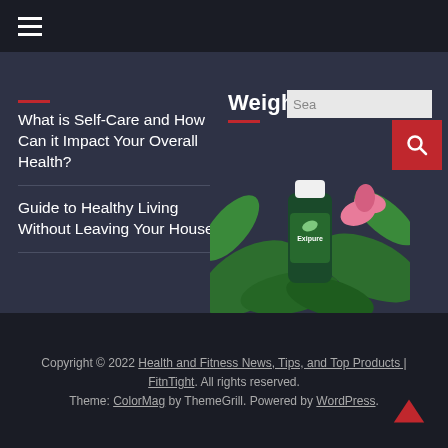☰ (navigation menu)
Weight Loss
What is Self-Care and How Can it Impact Your Overall Health?
Guide to Healthy Living Without Leaving Your House
[Figure (photo): Exipure supplement bottle surrounded by green tropical leaves and pink flowers on a dark background]
Copyright © 2022 Health and Fitness News, Tips, and Top Products | FitnTight. All rights reserved. Theme: ColorMag by ThemeGrill. Powered by WordPress.